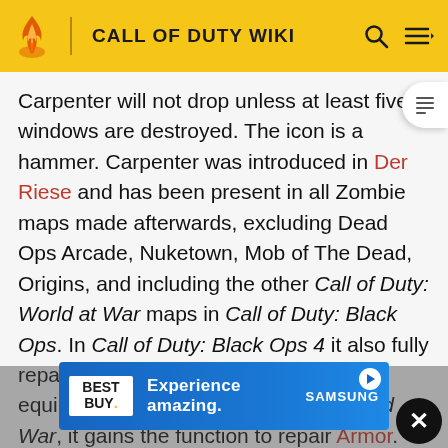CALL OF DUTY WIKI
Carpenter will not drop unless at least five windows are destroyed. The icon is a hammer. Carpenter was introduced in Der Riese and has been present in all Zombie maps made afterwards, excluding Dead Ops Arcade, Nuketown, Mob of The Dead, Origins, and including the other Call of Duty: World at War maps in Call of Duty: Black Ops. In Call of Duty: Black Ops 4 it also fully repairs the Shield if it is damaged and equipped. In Call of Duty: Black Op Cold War, it gains the function to repair Armor.
Persistent Upgrade
There i... Ops II which will create stronger boards on windows. This is
[Figure (screenshot): Best Buy advertisement banner: 'Experience amazing.' with Samsung branding on blue background]